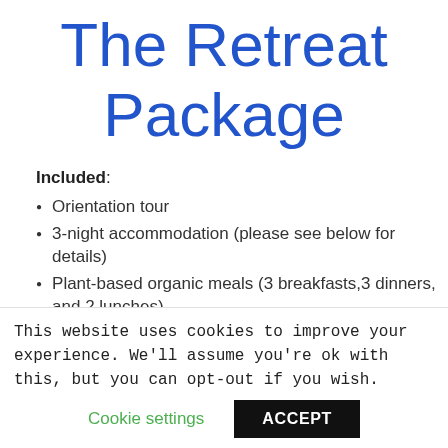The Retreat Package
Included:
Orientation tour
3-night accommodation (please see below for details)
Plant-based organic meals (3 breakfasts,3 dinners, and 2 lunches)
Daily movement sessions (walk/run, pilates,
This website uses cookies to improve your experience. We'll assume you're ok with this, but you can opt-out if you wish.
Cookie settings  ACCEPT